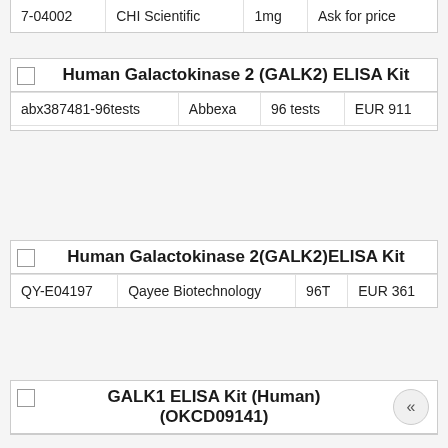| Catalog | Supplier | Size | Price |
| --- | --- | --- | --- |
| 7-04002 | CHI Scientific | 1mg | Ask for price |
Human Galactokinase 2 (GALK2) ELISA Kit
| Catalog | Supplier | Size | Price |
| --- | --- | --- | --- |
| abx387481-96tests | Abbexa | 96 tests | EUR 911 |
Human Galactokinase 2(GALK2)ELISA Kit
| Catalog | Supplier | Size | Price |
| --- | --- | --- | --- |
| QY-E04197 | Qayee Biotechnology | 96T | EUR 361 |
GALK1 ELISA Kit (Human) (OKCD09141)